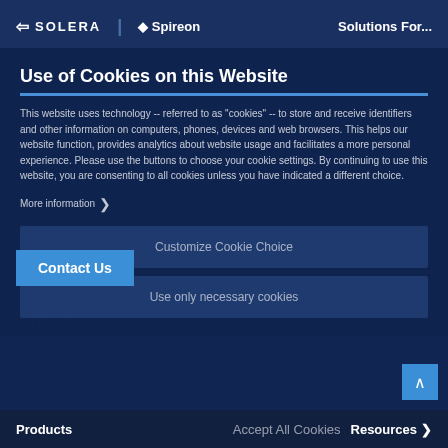SOLERA | Spireon   Solutions For...
Use of Cookies on this Website
This website uses technology -- referred to as "cookies" -- to store and receive identifiers and other information on computers, phones, devices and web browsers. This helps our website function, provides analytics about website usage and facilitates a more personal experience. Please use the buttons to choose your cookie settings. By continuing to use this website, you are consenting to all cookies unless you have indicated a different choice.
More information
Franchise Auto Dealers
Trailer & Asset Managers
Fleet Managers
BHPH Auto Dealers
Software Developers
18881 Von Karman Ave.
Suite 1500
Irvine, CA 92612
800.557.1449
Contact Us
Customize Cookie Choice
Use only necessary cookies
Accept All Cookies
Products   Accept All Cookies   Resources >